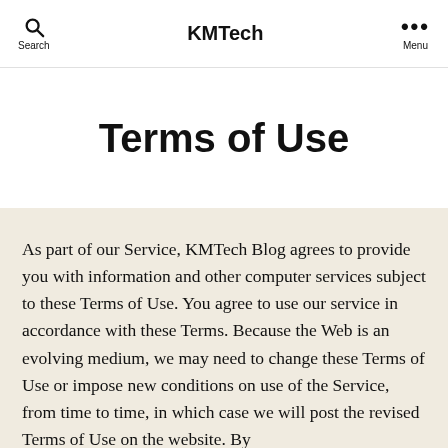Search   KMTech   Menu
Terms of Use
As part of our Service, KMTech Blog agrees to provide you with information and other computer services subject to these Terms of Use. You agree to use our service in accordance with these Terms. Because the Web is an evolving medium, we may need to change these Terms of Use or impose new conditions on use of the Service, from time to time, in which case we will post the revised Terms of Use on the website. By